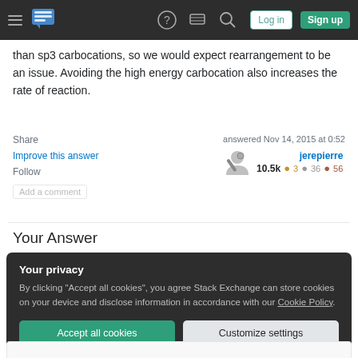Stack Exchange navigation bar with hamburger menu, logo, help, chat, search, log in, sign up
than sp3 carbocations, so we would expect rearrangement to be an issue. Avoiding the high energy carbocation also increases the rate of reaction.
Share
answered Nov 14, 2015 at 0:52
Improve this answer
jerepierre
10.5k 🔥3 ●36 ●56
Follow
Add a comment
Your Answer
Your privacy
By clicking "Accept all cookies", you agree Stack Exchange can store cookies on your device and disclose information in accordance with our Cookie Policy.
Accept all cookies
Customize settings